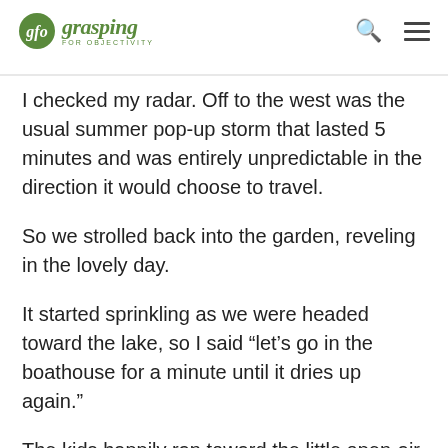grasping FOR OBJECTIVITY
I checked my radar. Off to the west was the usual summer pop-up storm that lasted 5 minutes and was entirely unpredictable in the direction it would choose to travel.
So we strolled back into the garden, reveling in the lovely day.
It started sprinkling as we were headed toward the lake, so I said “let’s go in the boathouse for a minute until it dries up again.”
The kids happily ran toward the little open-air house that sat out over the lake.